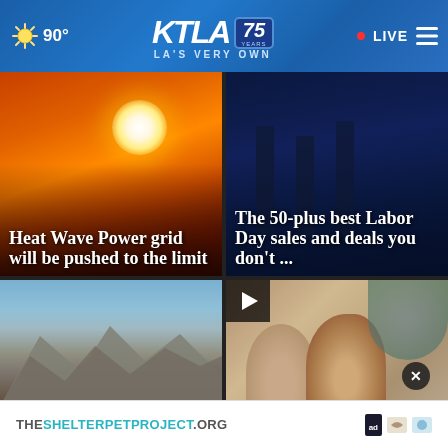KTLA 75 YEARS — LA'S VERY OWN | 90° | LIVE
[Figure (photo): Heat wave news card: orange sunset with power lines silhouette]
Heat Wave Power grid will be pushed to the limit
[Figure (photo): Labor Day sales news card: dark blue background with towers]
The 50-plus best Labor Day sales and deals you don't ...
[Figure (photo): Lake/reservoir with dry mountains — drought news story]
Un... boa... discovered at
[Figure (photo): Couple posing outdoors — video news story with play button]
H... f...ed h...ite-saving
THESHELTERPETPROJECT.ORG — ad banner
THESHELTERPETPROJECT.ORG